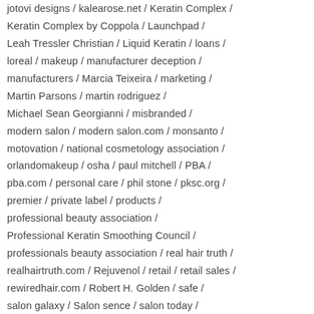jotovi designs / kalearose.net / Keratin Complex / Keratin Complex by Coppola / Launchpad / Leah Tressler Christian / Liquid Keratin / loans / loreal / makeup / manufacturer deception / manufacturers / Marcia Teixeira / marketing / Martin Parsons / martin rodriguez / Michael Sean Georgianni / misbranded / modern salon / modern salon.com / monsanto / motovation / national cosmetology association / orlandomakeup / osha / paul mitchell / PBA / pba.com / personal care / phil stone / pksc.org / premier / private label / products / professional beauty association / Professional Keratin Smoothing Council / professionals beauty association / real hair truth / realhairtruth.com / Rejuvenol / retail / retail sales / rewiredhair.com / Robert H. Golden / safe / salon galaxy / Salon sence / salon today / salon voices / salonfad / salons / Sharon Eccho /